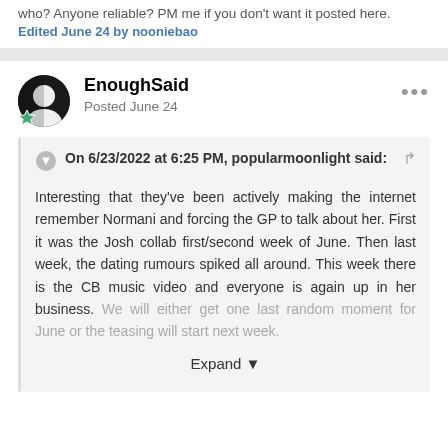who? Anyone reliable? PM me if you don't want it posted here. Edited June 24 by nooniebao
EnoughSaid
Posted June 24
On 6/23/2022 at 6:25 PM, popularmoonlight said:

Interesting that they've been actively making the internet remember Normani and forcing the GP to talk about her. First it was the Josh collab first/second week of June. Then last week, the dating rumours spiked all around. This week there is the CB music video and everyone is again up in her business. We will either get one last random moment for June or the teasing will start next week.
Expand